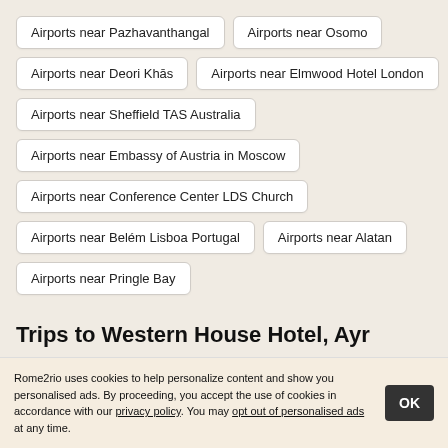Airports near Pazhavanthangal
Airports near Osomo
Airports near Deori Khās
Airports near Elmwood Hotel London
Airports near Sheffield TAS Australia
Airports near Embassy of Austria in Moscow
Airports near Conference Center LDS Church
Airports near Belém Lisboa Portugal
Airports near Alatan
Airports near Pringle Bay
Trips to Western House Hotel, Ayr
Rome2rio uses cookies to help personalize content and show you personalised ads. By proceeding, you accept the use of cookies in accordance with our privacy policy. You may opt out of personalised ads at any time.